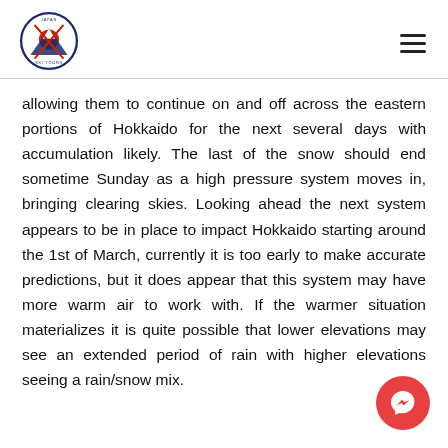Japan Ski Tours logo and navigation
allowing them to continue on and off across the eastern portions of Hokkaido for the next several days with accumulation likely. The last of the snow should end sometime Sunday as a high pressure system moves in, bringing clearing skies. Looking ahead the next system appears to be in place to impact Hokkaido starting around the 1st of March, currently it is too early to make accurate predictions, but it does appear that this system may have more warm air to work with. If the warmer situation materializes it is quite possible that lower elevations may see an extended period of rain with higher elevations seeing a rain/snow mix.